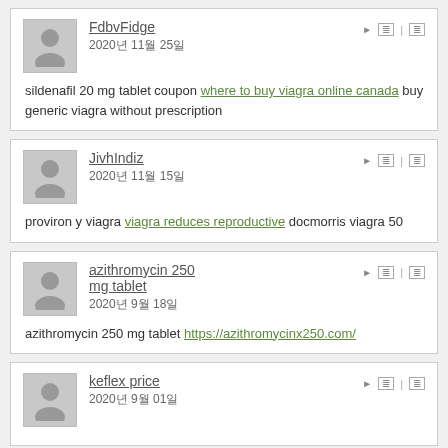FdbvFidge
2020년 11월 25일
sildenafil 20 mg tablet coupon where to buy viagra online canada buy generic viagra without prescription
JivhIndiz
2020년 11월 15일
proviron y viagra viagra reduces reproductive docmorris viagra 50
azithromycin 250 mg tablet
2020년 9월 18일
azithromycin 250 mg tablet https://azithromycinx250.com/
keflex price
2020년 9월 01일